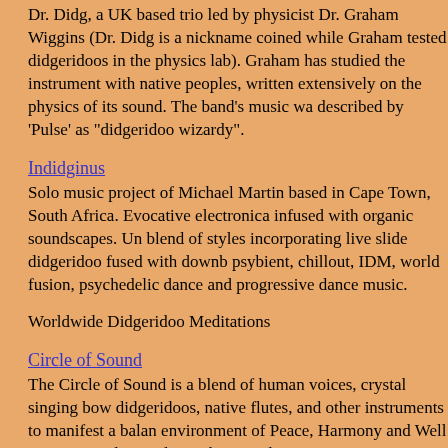Dr. Didg, a UK based trio led by physicist Dr. Graham Wiggins (Dr. Didg is a nickname coined while Graham tested didgeridoos in the physics lab). Graham has studied the instrument with native peoples, written extensively on the physics of its sound. The band's music was described by 'Pulse' as "didgeridoo wizardy".
Indidginus
Solo music project of Michael Martin based in Cape Town, South Africa. Evocative electronica infused with organic soundscapes. Unique blend of styles incorporating live slide didgeridoo fused with downbeat, psybient, chillout, IDM, world fusion, psychedelic dance and progressive dance music.
Worldwide Didgeridoo Meditations
Circle of Sound
The Circle of Sound is a blend of human voices, crystal singing bowls, didgeridoos, native flutes, and other instruments to manifest a balanced environment of Peace, Harmony and Well Being. Join the Circle - Share the Sound.
Earth Heal - Geoharmonic Research Project
The Earth Heal Geoharmonic Research Project facilitates regular group distant healing events, offers personal treatments, animal healing, space and business clearing, courses and workshops, and independent research in the field of personal and planetary healing.